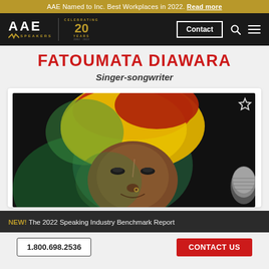AAE Named to Inc. Best Workplaces in 2022. Read more
[Figure (logo): AAE Speakers logo with Celebrating 20 Years badge on dark navigation bar with Contact button, search icon, and menu icon]
FATOUMATA DIAWARA
Singer-songwriter
[Figure (photo): Photo of Fatoumata Diawara wearing a colorful yellow, red and green headwrap, smiling, with a microphone visible on the right side]
NEW! The 2022 Speaking Industry Benchmark Report
1.800.698.2536   CONTACT US